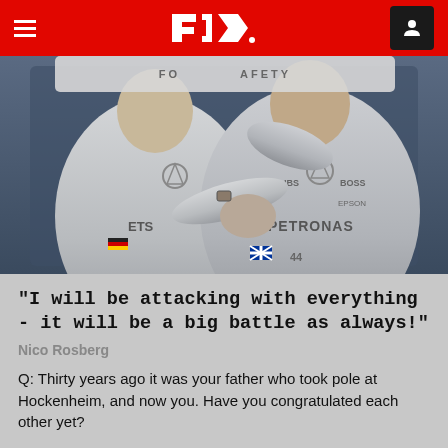F1 Navigation Header
[Figure (photo): Two Mercedes F1 drivers in white Petronas/ETS race suits shaking hands, one placing hand on the other's shoulder, against a dark blue background. Sponsors visible include UBS, BOSS, EPSON, PETRONAS.]
"I will be attacking with everything - it will be a big battle as always!"
Nico Rosberg
Q: Thirty years ago it was your father who took pole at Hockenheim, and now you. Have you congratulated each other yet?